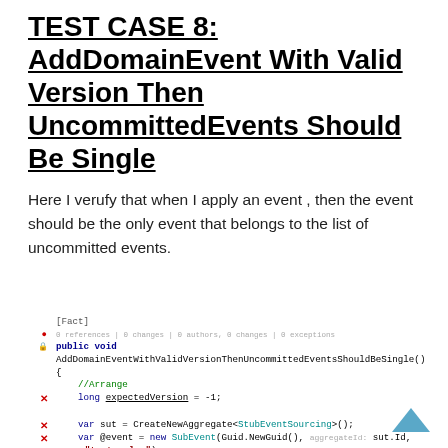TEST CASE 8: AddDomainEvent With Valid Version Then UncommittedEvents Should Be Single
Here I verufy that when I apply an event , then the event should be the only event that belongs to the list of uncommitted events.
[Figure (screenshot): C# code snippet showing a unit test method AddDomainEventWithValidVersionThenUncommittedEventsShouldBeSingle with [Fact] attribute, arrange/act/assert sections, using long expectedVersion = -1, CreateNewAggregate, SubEvent, ExposeAddDomainEvent, GetUncommittedEvents, Assert.NotNull and Assert.Equal calls.]